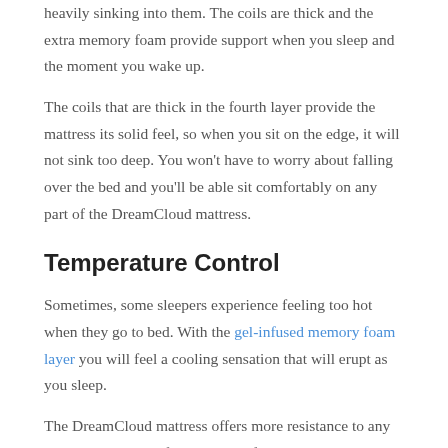heavily sinking into them. The coils are thick and the extra memory foam provide support when you sleep and the moment you wake up.
The coils that are thick in the fourth layer provide the mattress its solid feel, so when you sit on the edge, it will not sink too deep. You won't have to worry about falling over the bed and you'll be able sit comfortably on any part of the DreamCloud mattress.
Temperature Control
Sometimes, some sleepers experience feeling too hot when they go to bed. With the gel-infused memory foam layer you will feel a cooling sensation that will erupt as you sleep.
The DreamCloud mattress offers more resistance to any excessive heat you feel because of its cashmere covering. Cashmere is known for its temperature regulating properties, and that means it's